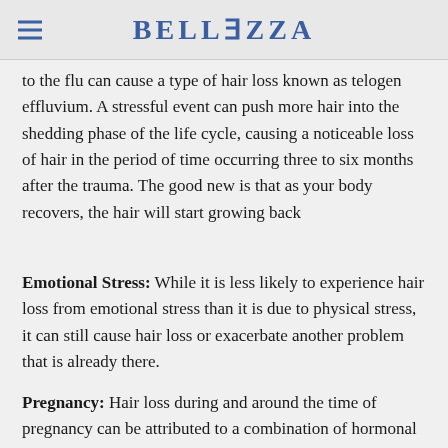BELLEZZA
to the flu can cause a type of hair loss known as telogen effluvium. A stressful event can push more hair into the shedding phase of the life cycle, causing a noticeable loss of hair in the period of time occurring three to six months after the trauma. The good new is that as your body recovers, the hair will start growing back
Emotional Stress: While it is less likely to experience hair loss from emotional stress than it is due to physical stress, it can still cause hair loss or exacerbate another problem that is already there.
Pregnancy: Hair loss during and around the time of pregnancy can be attributed to a combination of hormonal changes and physical trauma as outlined above. In this case